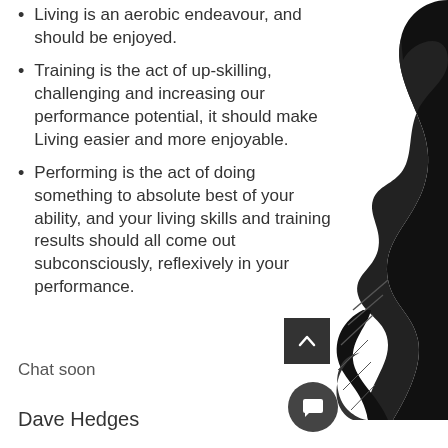Living is an aerobic endeavour, and should be enjoyed.
Training is the act of up-skilling, challenging and increasing our performance potential, it should make Living easier and more enjoyable.
Performing is the act of doing something to absolute best of your ability, and your living skills and training results should all come out subconsciously, reflexively in your performance.
Chat soon
Dave Hedges
[Figure (illustration): Black silhouette of a person on the right side of the page]
[Figure (other): Dark square back-to-top button with upward chevron icon]
[Figure (other): Dark circular chat/message button with speech bubble icon]